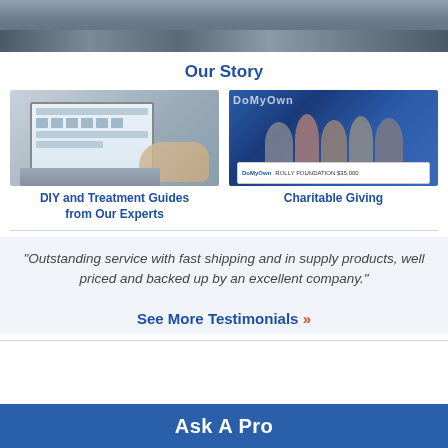[Figure (photo): Group photo of people outdoors, cropped at top, showing lower bodies/legs]
Our Story
[Figure (photo): Person using a laptop showing pest identification website]
[Figure (photo): Group of 5 people holding a large DoMyOwn branded check for a foundation for $35,000 in front of DoMyOwn banner]
DIY and Treatment Guides from Our Experts
Charitable Giving
"Outstanding service with fast shipping and in supply products, well priced and backed up by an excellent company."
See More Testimonials »
Ask A Pro